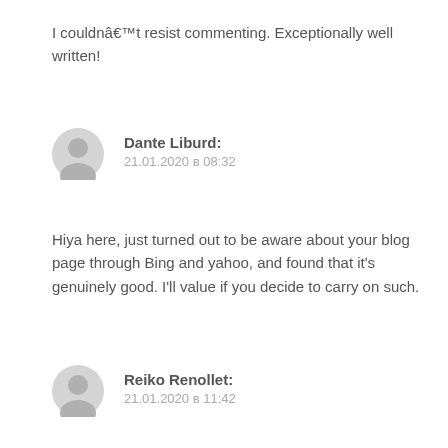I couldnât resist commenting. Exceptionally well written!
Dante Liburd:
21.01.2020 в 08:32
Hiya here, just turned out to be aware about your blog page through Bing and yahoo, and found that it’s genuinely good. I’ll value if you decide to carry on such.
Reiko Renollet:
21.01.2020 в 11:42